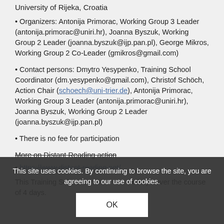University of Rijeka, Croatia
• Organizers: Antonija Primorac, Working Group 3 Leader (antonija.primorac@uniri.hr), Joanna Byszuk, Working Group 2 Leader (joanna.byszuk@ijp.pan.pl), George Mikros, Working Group 2 Co-Leader (gmikros@gmail.com)
• Contact persons: Dmytro Yesypenko, Training School Coordinator (dm.yesypenko@gmail.com), Christof Schöch, Action Chair (schoech@uni-trier.de), Antonija Primorac, Working Group 3 Leader (antonija.primorac@uniri.hr), Joanna Byszuk, Working Group 2 Leader (joanna.byszuk@ijp.pan.pl)
• There is no fee for participation
More on Distant Reading action
• https://www.distant-reading.net/
This Training School consists of workshops over the course of 4 days.
This site uses cookies. By continuing to browse the site, you are agreeing to our use of cookies.